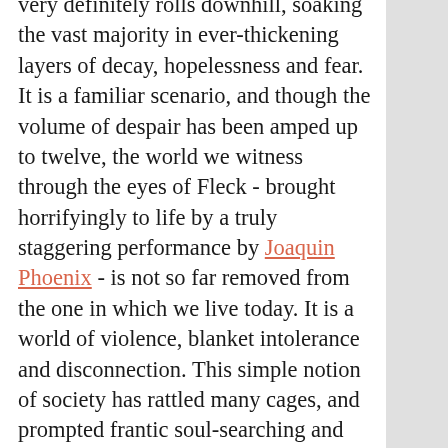very definitely rolls downhill, soaking the vast majority in ever-thickening layers of decay, hopelessness and fear. It is a familiar scenario, and though the volume of despair has been amped up to twelve, the world we witness through the eyes of Fleck - brought horrifyingly to life by a truly staggering performance by Joaquin Phoenix - is not so far removed from the one in which we live today. It is a world of violence, blanket intolerance and disconnection. This simple notion of society has rattled many cages, and prompted frantic soul-searching and hysteria on the part of persons so drenched in paranoia, they fear the supposed